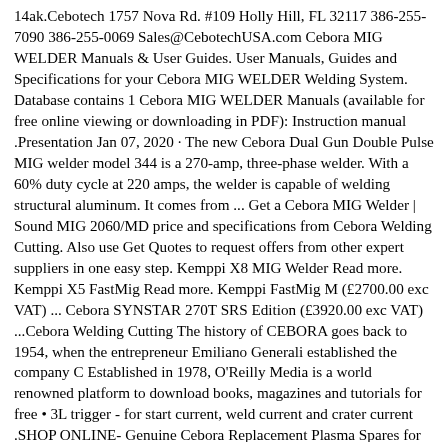14ak.Cebotech 1757 Nova Rd. #109 Holly Hill, FL 32117 386-255-7090 386-255-0069 Sales@CebotechUSA.com Cebora MIG WELDER Manuals & User Guides. User Manuals, Guides and Specifications for your Cebora MIG WELDER Welding System. Database contains 1 Cebora MIG WELDER Manuals (available for free online viewing or downloading in PDF): Instruction manual .Presentation Jan 07, 2020 · The new Cebora Dual Gun Double Pulse MIG welder model 344 is a 270-amp, three-phase welder. With a 60% duty cycle at 220 amps, the welder is capable of welding structural aluminum. It comes from ... Get a Cebora MIG Welder | Sound MIG 2060/MD price and specifications from Cebora Welding Cutting. Also use Get Quotes to request offers from other expert suppliers in one easy step. Kemppi X8 MIG Welder Read more. Kemppi X5 FastMig Read more. Kemppi FastMig M (£2700.00 exc VAT) ... Cebora SYNSTAR 270T SRS Edition (£3920.00 exc VAT) ...Cebora Welding Cutting The history of CEBORA goes back to 1954, when the entrepreneur Emiliano Generali established the company C Established in 1978, O'Reilly Media is a world renowned platform to download books, magazines and tutorials for free • 3L trigger - for start current, weld current and crater current .SHOP ONLINE- Genuine Cebora Replacement Plasma Spares for the CP7 Cebora Plasma Sound PC70/T and Plasma Sound- Cebora PC70 Plasma Torch Spares. ... MIG Welder Spares MIG Torches Parweld Torches MB150 Torches MB250 Torches MB360 Torches Tweco Torches XP8